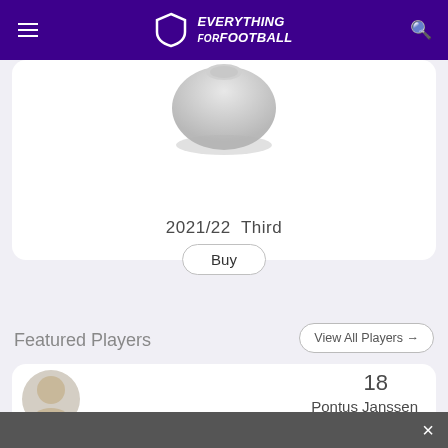Everything For Football
2021/22  Third
Buy
Featured Players
View All Players →
18
Pontus Janssen